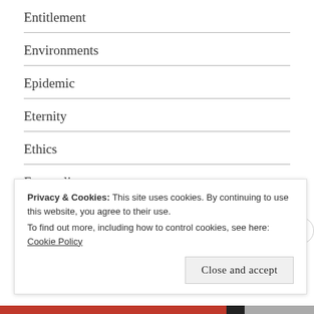Entitlement
Environments
Epidemic
Eternity
Ethics
Evangelism
Evil
Excellence
Excuses
Privacy & Cookies: This site uses cookies. By continuing to use this website, you agree to their use.
To find out more, including how to control cookies, see here: Cookie Policy